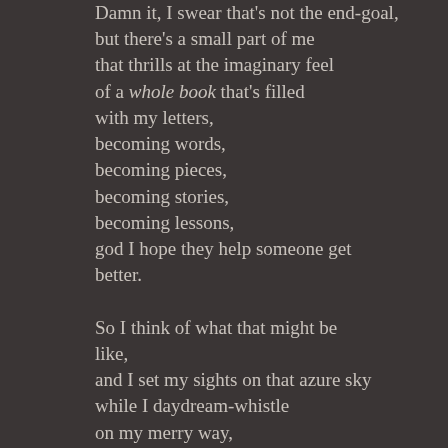Damn it, I swear that's not the end-goal,
but there's a small part of me
that thrills at the imaginary feel
of a whole book that's filled
with my letters,
becoming words,
becoming pieces,
becoming stories,
becoming lessons,
god I hope they help someone get better.

So I think of what that might be like,
and I set my sights on that azure sky
while I daydream-whistle
on my merry way,